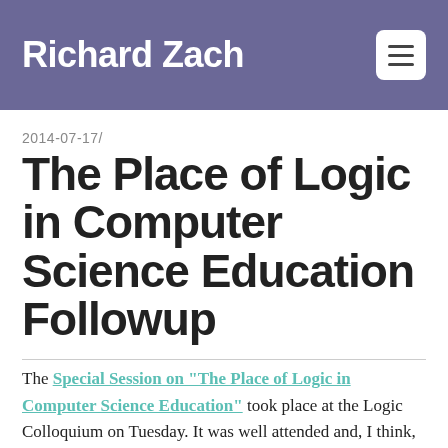Richard Zach
2014-07-17/
The Place of Logic in Computer Science Education Followup
The Special Session on “The Place of Logic in Computer Science Education” took place at the Logic Colloquium on Tuesday. It was well attended and, I think, overall a successful session.  The newly-formed ACM Special Interest Group on Logic and Computation (SIGLOG) was represented by its chair Prakash